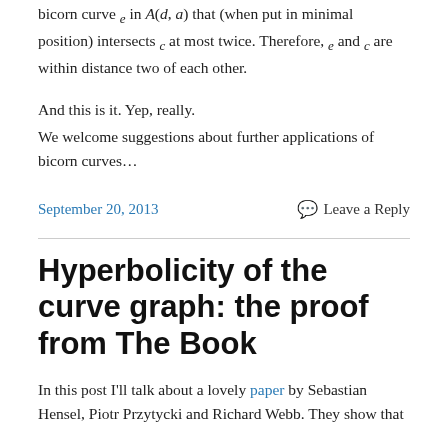bicorn curve e in A(d, a) that (when put in minimal position) intersects c at most twice. Therefore, e and c are within distance two of each other.
And this is it. Yep, really.
We welcome suggestions about further applications of bicorn curves…
September 20, 2013    Leave a Reply
Hyperbolicity of the curve graph: the proof from The Book
In this post I'll talk about a lovely paper by Sebastian Hensel, Piotr Przytycki and Richard Webb. They show that